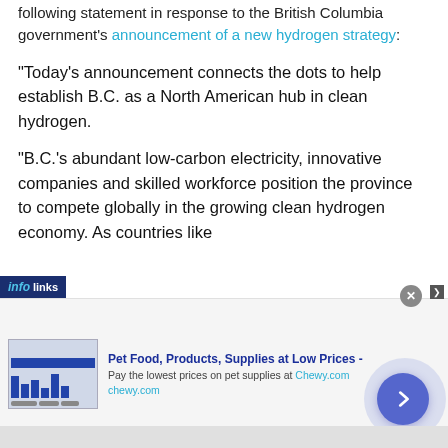following statement in response to the British Columbia government's announcement of a new hydrogen strategy:
“Today’s announcement connects the dots to help establish B.C. as a North American hub in clean hydrogen.
“B.C.’s abundant low-carbon electricity, innovative companies and skilled workforce position the province to compete globally in the growing clean hydrogen economy. As countries like
[Figure (infographic): Infolinks advertisement overlay with a pet food ad from Chewy.com. Shows 'Pet Food, Products, Supplies at Low Prices -' headline in bold blue, with descriptive text and chewy.com URL. Includes an arrow button and decorative circular element.]